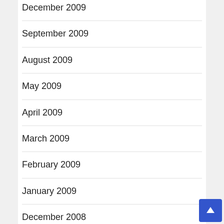December 2009
September 2009
August 2009
May 2009
April 2009
March 2009
February 2009
January 2009
December 2008